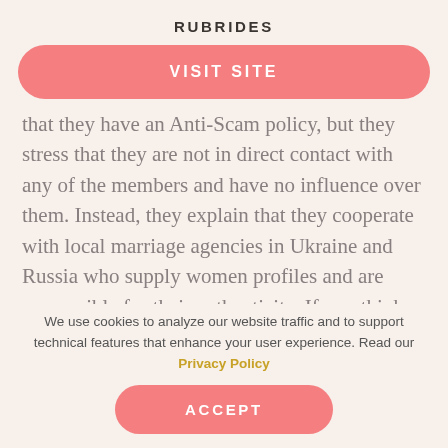RUBRIDES
[Figure (other): Pink rounded button labeled VISIT SITE]
that they have an Anti-Scam policy, but they stress that they are not in direct contact with any of the members and have no influence over them. Instead, they explain that they cooperate with local marriage agencies in Ukraine and Russia who supply women profiles and are responsible for their authenticity. If you think about it,
We use cookies to analyze our website traffic and to support technical features that enhance your user experience. Read our Privacy Policy
[Figure (other): Pink rounded button labeled ACCEPT]